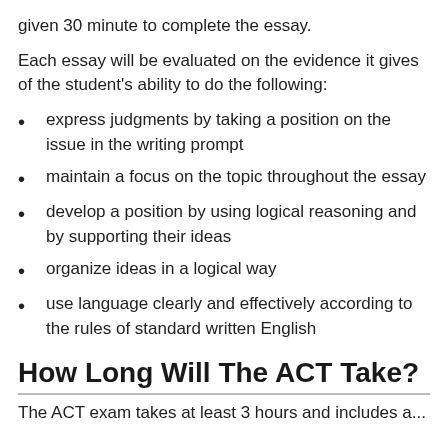given 30 minute to complete the essay.
Each essay will be evaluated on the evidence it gives of the student's ability to do the following:
express judgments by taking a position on the issue in the writing prompt
maintain a focus on the topic throughout the essay
develop a position by using logical reasoning and by supporting their ideas
organize ideas in a logical way
use language clearly and effectively according to the rules of standard written English
How Long Will The ACT Take?
The ACT exam takes at least 3 hours and includes a...